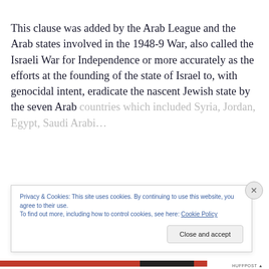This clause was added by the Arab League and the Arab states involved in the 1948-9 War, also called the Israeli War for Independence or more accurately as the efforts at the founding of the state of Israel to, with genocidal intent, eradicate the nascent Jewish state by the seven Arab countries which included Syria, Jordan, Egypt, Saudi Arabi…
Privacy & Cookies: This site uses cookies. By continuing to use this website, you agree to their use.
To find out more, including how to control cookies, see here: Cookie Policy
Close and accept